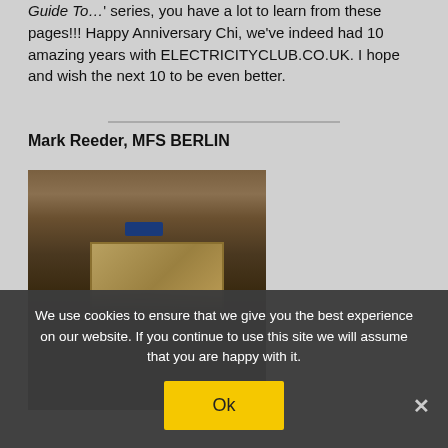Guide To…' series, you have a lot to learn from these pages!!! Happy Anniversary Chi, we've indeed had 10 amazing years with ELECTRICITYCLUB.CO.UK. I hope and wish the next 10 to be even better.
Mark Reeder, MFS BERLIN
[Figure (photo): Dark photograph of three people standing together in a dim room with wooden paneling, a blue electronic display visible in the background, and a framed picture on the wall.]
We use cookies to ensure that we give you the best experience on our website. If you continue to use this site we will assume that you are happy with it.